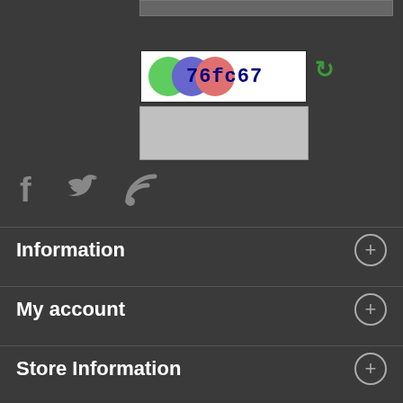[Figure (screenshot): CAPTCHA widget showing three overlapping colored circles (green, blue, red) with text '76fc67' and a refresh icon]
[Figure (screenshot): Text input field for CAPTCHA entry, grey/empty]
[Figure (infographic): Social media icons: Facebook (f), Twitter (bird), RSS feed]
Information
My account
Store Information